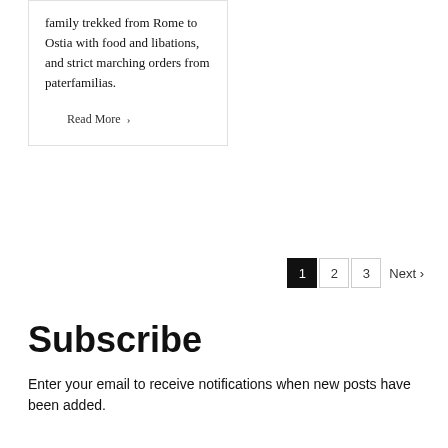family trekked from Rome to Ostia with food and libations, and strict marching orders from paterfamilias.
Read More ›
1  2  3  Next ›
Subscribe
Enter your email to receive notifications when new posts have been added.